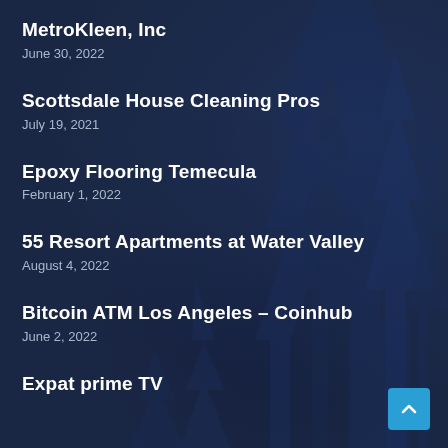MetroKleen, Inc
June 30, 2022
Scottsdale House Cleaning Pros
July 19, 2021
Epoxy Flooring Temecula
February 1, 2022
55 Resort Apartments at Water Valley
August 4, 2022
Bitcoin ATM Los Angeles – Coinhub
June 2, 2022
Expat prime TV